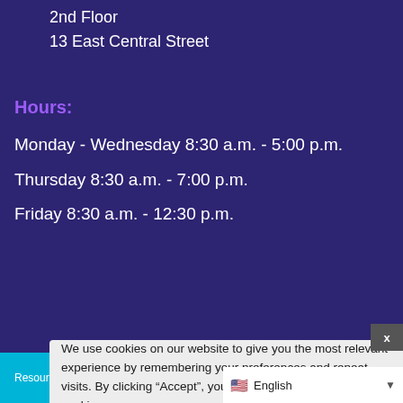2nd Floor
13 East Central Street
Hours:
Monday - Wednesday 8:30 a.m. - 5:00 p.m.
Thursday 8:30 a.m. - 7:00 p.m.
Friday 8:30 a.m. - 12:30 p.m.
We use cookies on our website to give you the most relevant experience by remembering your preferences and repeat visits. By clicking “Accept”, you consent to the use of ALL the cookies. In case of sale of your personal information, you may opt out by using the link Do not sell my personal information.
Cookie settings
ACCEPT
Resources, Tips and Support During COVID-19.
Read Now
English